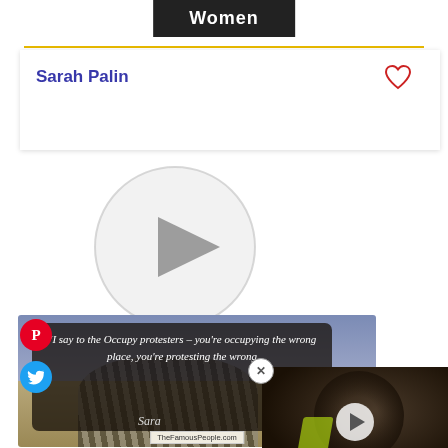Women
Sarah Palin
[Figure (other): Video play button circle (media player placeholder)]
[Figure (photo): Quote image card with zebra background. Quote text: "I say to the Occupy protesters – you're occupying the wrong place, you're protesting the wrong [place]". Signed Sara[h Palin]. TheFamousPeople.com watermark. Pinterest and Twitter share buttons on left side.]
[Figure (photo): Advertisement overlay showing a person with an afro hairstyle, with a play button indicating a video ad. Close button (X) in top right corner of ad.]